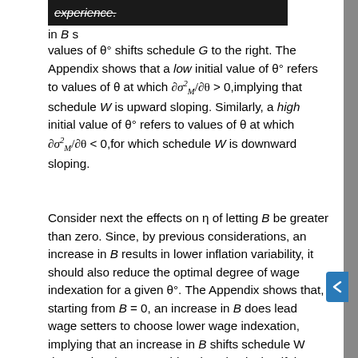experience.
in B s
values of θ° shifts schedule G to the right. The Appendix shows that a low initial value of θ° refers to values of θ at which ∂σ²_M/∂θ > 0, implying that schedule W is upward sloping. Similarly, a high initial value of θ° refers to values of θ at which ∂σ²_M/∂θ < 0, for which schedule W is downward sloping.
Consider next the effects on η of letting B be greater than zero. Since, by previous considerations, an increase in B results in lower inflation variability, it should also reduce the optimal degree of wage indexation for a given θ°. The Appendix shows that, starting from B = 0, an increase in B does lead wage setters to choose lower wage indexation, implying that an increase in B shifts schedule W down. The above considerations imply that if the initial equilibrium is on the upward-sloping portion of schedule W, then a higher B induces a fall in optimal wage indexation but has an ambiguous effect on debt indexation. If the initial equilibrium is on the downward-sloping portion